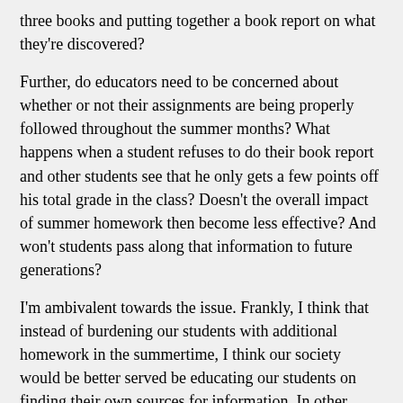three books and putting together a book report on what they're discovered?
Further, do educators need to be concerned about whether or not their assignments are being properly followed throughout the summer months? What happens when a student refuses to do their book report and other students see that he only gets a few points off his total grade in the class? Doesn't the overall impact of summer homework then become less effective? And won't students pass along that information to future generations?
I'm ambivalent towards the issue. Frankly, I think that instead of burdening our students with additional homework in the summertime, I think our society would be better served be educating our students on finding their own sources for information. In other words, teach our students at a young age that they should read the newspaper at least once each week and that they should read a news-based magazine at least once per month. And while on that topic, we should educate our students to understand that it is okay for them to read a magazine like Maxim or Glamour, but that they should not be using these outlets as their primary source of finding